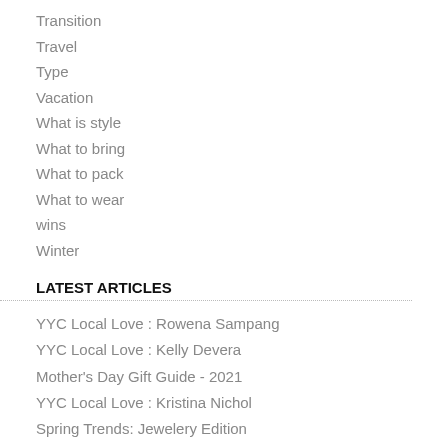Transition
Travel
Type
Vacation
What is style
What to bring
What to pack
What to wear
wins
Winter
LATEST ARTICLES
YYC Local Love : Rowena Sampang
YYC Local Love : Kelly Devera
Mother's Day Gift Guide - 2021
YYC Local Love : Kristina Nichol
Spring Trends: Jewelery Edition
YYC Local Love : Brittany Prete
SUBSCRIBE
Atom